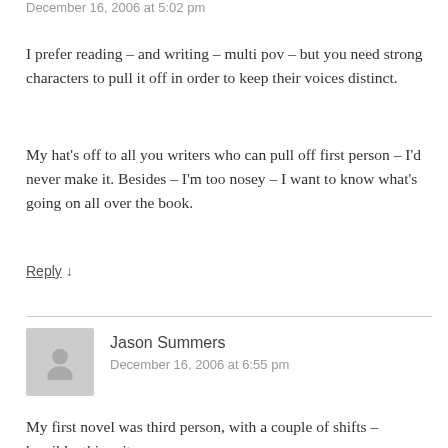December 16, 2006 at 5:02 pm
I prefer reading – and writing – multi pov – but you need strong characters to pull it off in order to keep their voices distinct.
My hat's off to all you writers who can pull off first person – I'd never make it. Besides – I'm too nosey – I want to know what's going on all over the book.
Reply ↓
Jason Summers
December 16, 2006 at 6:55 pm
My first novel was third person, with a couple of shifts – horrible, thing, it was.